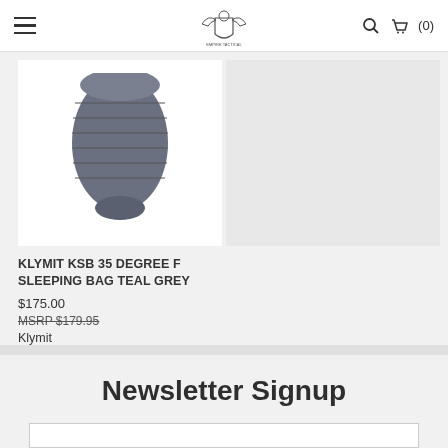Empire Tactical — Navigation header with hamburger menu, logo, search icon, and cart (0)
[Figure (photo): Product image of Klymit KSB 35 Degree F Sleeping Bag in Teal Grey — compressed sleeping bag shown from top angle]
KLYMIT KSB 35 DEGREE F SLEEPING BAG TEAL GREY
$175.00
MSRP $179.95
Klymit
Newsletter Signup